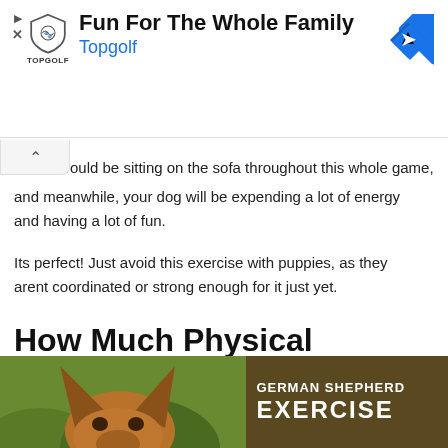[Figure (screenshot): Advertisement banner for Topgolf: 'Fun For The Whole Family' with Topgolf shield logo, brand name in blue, and a blue diamond navigation arrow icon on the right.]
ould be sitting on the sofa throughout this whole game, and meanwhile, your dog will be expending a lot of energy and having a lot of fun.
Its perfect! Just avoid this exercise with puppies, as they arent coordinated or strong enough for it just yet.
How Much Physical Exercise Do German Shepherds Need
[Figure (photo): Photo of a German Shepherd dog from the ears up with text overlay reading 'GERMAN SHEPHERD' and 'EXERCISE' in bold white letters on a brownish-green background.]